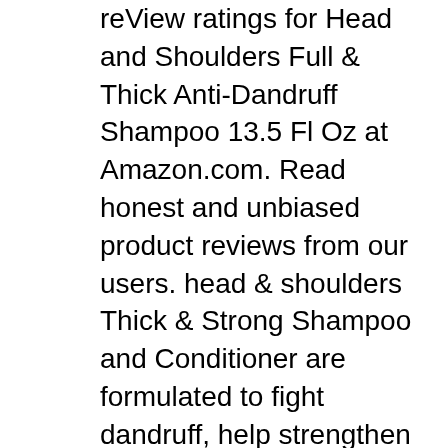reView ratings for Head and Shoulders Full & Thick Anti-Dandruff Shampoo 13.5 Fl Oz at Amazon.com. Read honest and unbiased product reviews from our users. head & shoulders Thick & Strong Shampoo and Conditioner are formulated to fight dandruff, help strengthen weak, brittle hair from root to tip and repair damage caused by brushing and combing. The products contain a special blend of moisturising ingredients including guar, dimethicone and hydrazinc to condition the scalp and hair.
Head & Shoulders Full and Thick Men Advanced Series Anti-Dandruff 2 in 1 at Walgreens. Get free shipping at $35 and